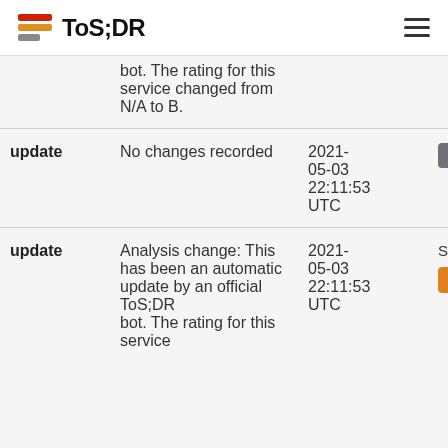ToS;DR
bot. The rating for this service changed from N/A to B.
| Type | Description | Date | User |
| --- | --- | --- | --- |
| update | No changes recorded | 2021-05-03 22:11:53 UTC | ✕Deleted |
| update | Analysis change: This has been an automatic update by an official ToS;DR bot. The rating for this service changed from N/A to B. | 2021-05-03 22:11:53 UTC | System Bot |